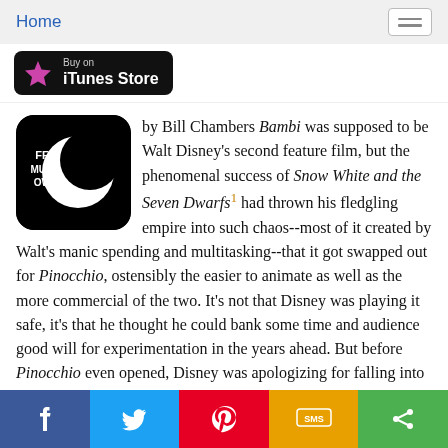Home
[Figure (logo): Buy on iTunes Store button with star logo on black background]
[Figure (logo): FPC Must-Own circular logo on black rounded square]
by Bill Chambers Bambi was supposed to be Walt Disney's second feature film, but the phenomenal success of Snow White and the Seven Dwarfs¹ had thrown his fledgling empire into such chaos--most of it created by Walt's manic spending and multitasking--that it got swapped out for Pinocchio, ostensibly the easier to animate as well as the more commercial of the two. It's not that Disney was playing it safe, it's that he thought he could bank some time and audience good will for experimentation in the years ahead. But before Pinocchio even opened, Disney was apologizing for falling into a sophomore slump, and the film wound up being a box-office disappointment, grossing less than Bambi eventually would.² It's
[Figure (infographic): Social share bar with Facebook, Twitter, Pinterest, SMS, and share buttons]